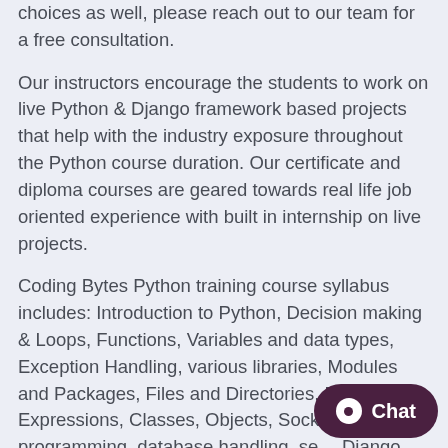choices as well, please reach out to our team for a free consultation.
Our instructors encourage the students to work on live Python & Django framework based projects that help with the industry exposure throughout the Python course duration. Our certificate and diploma courses are geared towards real life job oriented experience with built in internship on live projects.
Coding Bytes Python training course syllabus includes: Introduction to Python, Decision making & Loops, Functions, Variables and data types, Exception Handling, various libraries, Modules and Packages, Files and Directories, Regular Expressions, Classes, Objects, Socket programming, database handling, se… Django framework.